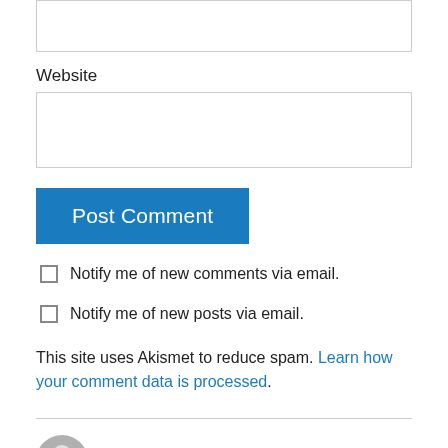Website
Post Comment
Notify me of new comments via email.
Notify me of new posts via email.
This site uses Akismet to reduce spam. Learn how your comment data is processed.
d. v. on June 29, 2012 at 7:35 am